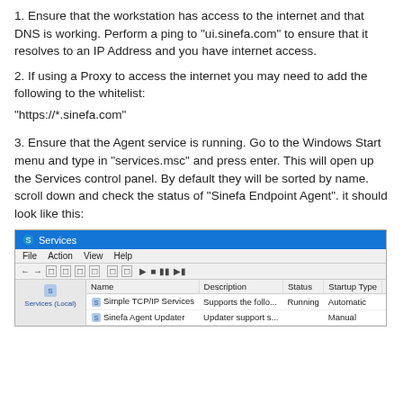1. Ensure that the workstation has access to the internet and that DNS is working. Perform a ping to "ui.sinefa.com" to ensure that it resolves to an IP Address and you have internet access.
2. If using a Proxy to access the internet you may need to add the following to the whitelist:
"https://*.sinefa.com"
3. Ensure that the Agent service is running. Go to the Windows Start menu and type in "services.msc" and press enter. This will open up the Services control panel. By default they will be sorted by name. scroll down and check the status of "Sinefa Endpoint Agent". it should look like this:
[Figure (screenshot): Windows Services control panel screenshot showing Services (Local) with columns Name, Description, Status, Startup Type, Log On As. Rows include Simple TCP/IP Services (Supports the follo..., Running, Automatic, Local Service) and Sinefa Agent Updater (Updater support s..., Manual, Local System).]